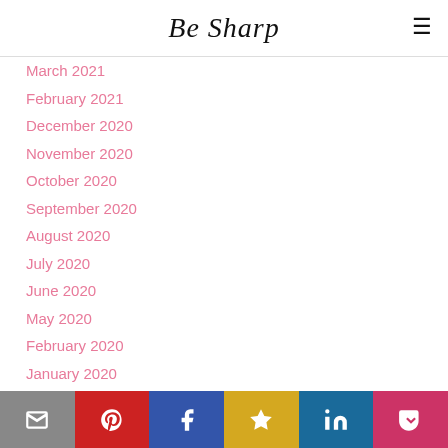Be Sharp
March 2021
February 2021
December 2020
November 2020
October 2020
September 2020
August 2020
July 2020
June 2020
May 2020
February 2020
January 2020
CATEGORIES
All